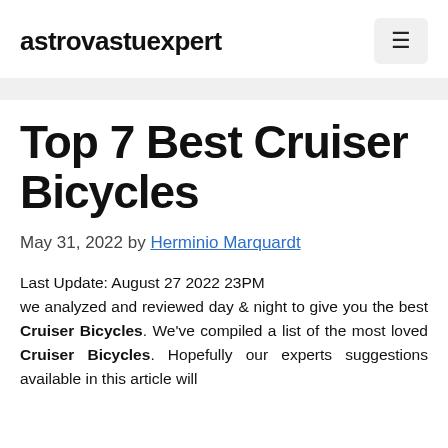astrovastuexpert
Top 7 Best Cruiser Bicycles
May 31, 2022 by Herminio Marquardt
Last Update: August 27 2022 23PM
we analyzed and reviewed day & night to give you the best Cruiser Bicycles. We've compiled a list of the most loved Cruiser Bicycles. Hopefully our experts suggestions available in this article will